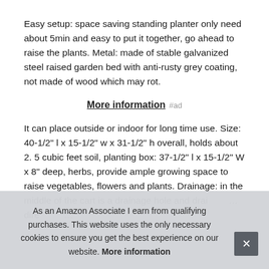Easy setup: space saving standing planter only need about 5min and easy to put it together, go ahead to raise the plants. Metal: made of stable galvanized steel raised garden bed with anti-rusty grey coating, not made of wood which may rot.
More information #ad
It can place outside or indoor for long time use. Size: 40-1/2" l x 15-1/2" w x 31-1/2" h overall, holds about 2. 5 cubic feet soil, planting box: 37-1/2" l x 15-1/2" W x 8" deep, herbs, provide ample growing space to raise vegetables, flowers and plants. Drainage: in the middle of the cart is a drainage hole and drai[nage]... dire[ctions]...
As an Amazon Associate I earn from qualifying purchases. This website uses the only necessary cookies to ensure you get the best experience on our website. More information